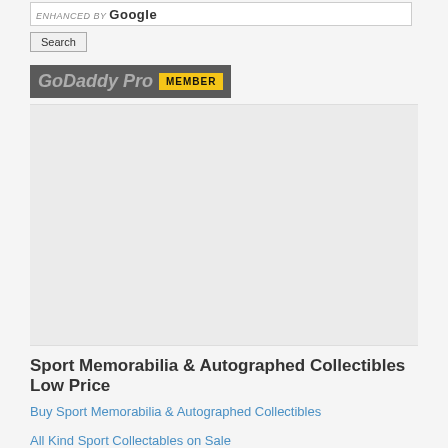[Figure (screenshot): Google search bar with 'ENHANCED BY Google' label and a Search button below it]
[Figure (logo): GoDaddy Pro logo in white/gray with a yellow MEMBER badge]
[Figure (other): Large gray advertisement placeholder block]
Sport Memorabilia & Autographed Collectibles Low Price
Buy Sport Memorabilia & Autographed Collectibles
All Kind Sport Collectables on Sale